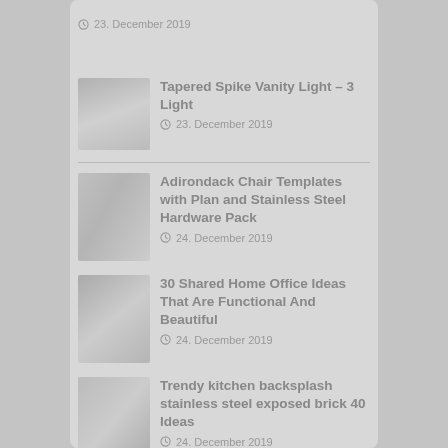23. December 2019
Tapered Spike Vanity Light – 3 Light
23. December 2019
Adirondack Chair Templates with Plan and Stainless Steel Hardware Pack
24. December 2019
30 Shared Home Office Ideas That Are Functional And Beautiful
24. December 2019
Trendy kitchen backsplash stainless steel exposed brick 40 Ideas
24. December 2019
10 Spectacular Storage…